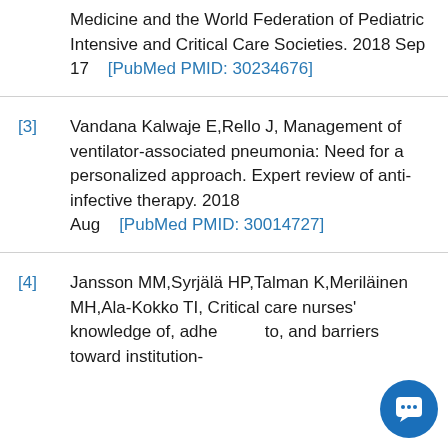Medicine and the World Federation of Pediatric Intensive and Critical Care Societies. 2018 Sep 17   [PubMed PMID: 30234676]
[3]  Vandana Kalwaje E,Rello J, Management of ventilator-associated pneumonia: Need for a personalized approach. Expert review of anti-infective therapy. 2018 Aug   [PubMed PMID: 30014727]
[4]  Jansson MM,Syrjälä HP,Talman K,Meriläinen MH,Ala-Kokko TI, Critical care nurses' knowledge of, adherence to, and barriers toward institution-